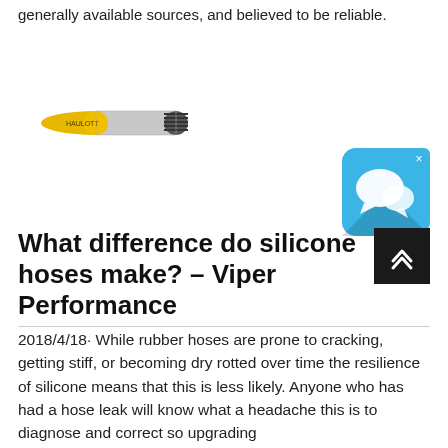generally available sources, and believed to be reliable.
[Figure (photo): A yellow and grey braided hydraulic or silicone hose shown horizontally]
[Figure (screenshot): A blue chat/messaging app icon with speech bubbles and an X close button in the top right corner]
What difference do silicone hoses make? – Viper Performance
2018/4/18· While rubber hoses are prone to cracking, getting stiff, or becoming dry rotted over time the resilience of silicone means that this is less likely. Anyone who has had a hose leak will know what a headache this is to diagnose and correct so upgrading